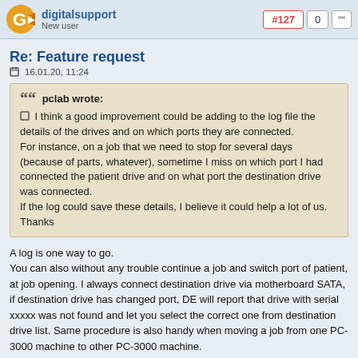digitalsupport
New user
#127  0  "
Re: Feature request
16.01.20, 11:24
" pclab wrote:
☐ I think a good improvement could be adding to the log file the details of the drives and on which ports they are connected.
For instance, on a job that we need to stop for several days (because of parts, whatever), sometime I miss on which port I had connected the patient drive and on what port the destination drive was connected.
If the log could save these details, I believe it could help a lot of us.
Thanks
A log is one way to go.
You can also without any trouble continue a job and switch port of patient, at job opening. I always connect destination drive via motherboard SATA, if destination drive has changed port, DE will report that drive with serial xxxxx was not found and let you select the correct one from destination drive list. Same procedure is also handy when moving a job from one PC-3000 machine to other PC-3000 machine.
https://digitalsupport.dk